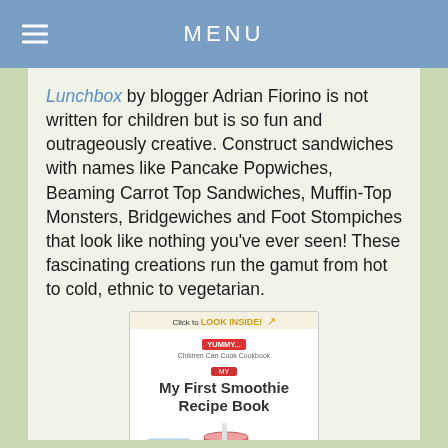MENU
Lunchbox by blogger Adrian Fiorino is not written for children but is so fun and outrageously creative. Construct sandwiches with names like Pancake Popwiches, Beaming Carrot Top Sandwiches, Muffin-Top Monsters, Bridgewiches and Foot Stompiches that look like nothing you've ever seen! These fascinating creations run the gamut from hot to cold, ethnic to vegetarian.
[Figure (photo): Book cover of 'My First Smoothie Recipe Book' - a children's cookbook kindle edition with cartoon smoothie characters]
My First Smoothie Recipe Book by Ronn Sabra and